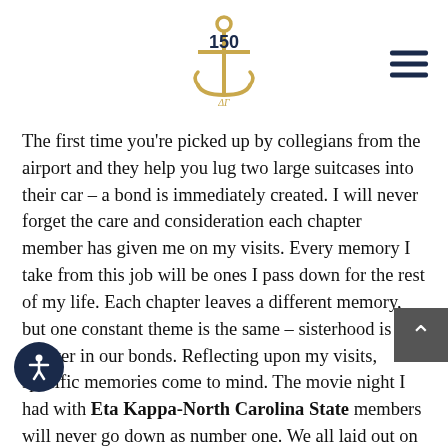[Figure (logo): Delta Gamma 150th anniversary logo: a golden anchor with 'ΔΓ' text and '150' in navy blue in the center of the anchor ring]
The first time you're picked up by collegians from the airport and they help you lug two large suitcases into their car – a bond is immediately created. I will never forget the care and consideration each chapter member has given me on my visits. Every memory I take from this job will be ones I pass down for the rest of my life. Each chapter leaves a different memory, but one constant theme is the same – sisterhood is forever in our bonds. Reflecting upon my visits, specific memories come to mind. The movie night I had with Eta Kappa-North Carolina State members will never go down as number one. We all laid out on the couch giggling watching The Kissing Booth 3